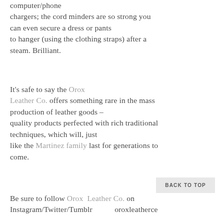computer/phone chargers; the cord minders are so strong you can even secure a dress or pants to hanger (using the clothing straps) after a steam. Brilliant.
It's safe to say the Orox Leather Co. offers something rare in the mass production of leather goods – quality products perfected with rich traditional techniques, which will, just like the Martinez family last for generations to come.
Be sure to follow Orox Leather Co. on Instagram/Twitter/Tumblr — oroxleatherce